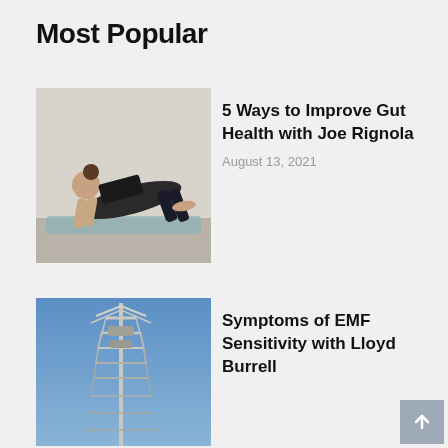Most Popular
[Figure (photo): Woman doing a plank/yoga pose on a mat against a white wall]
5 Ways to Improve Gut Health with Joe Rignola
August 13, 2021
[Figure (photo): Cell tower / radio antenna mast against a clear blue sky]
Symptoms of EMF Sensitivity with Lloyd Burrell